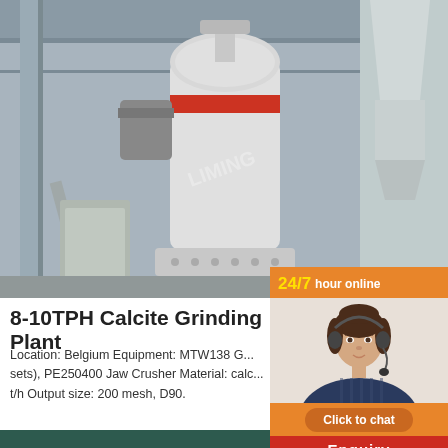[Figure (photo): Industrial calcite grinding plant machinery – large white vertical roller mill with red band, structural steel framework, conveyor equipment in an industrial facility]
8-10TPH Calcite Grinding Plant
Location: Belgium Equipment: MTW138 G... sets), PE250400 Jaw Crusher Material: calc... t/h Output size: 200 mesh, D90.
[Figure (infographic): Customer service chat widget with '24/7 hour online' header in orange, photo of woman with headset, orange 'Click to chat' button, and 'Enquiry' red bar at bottom]
Chat Online